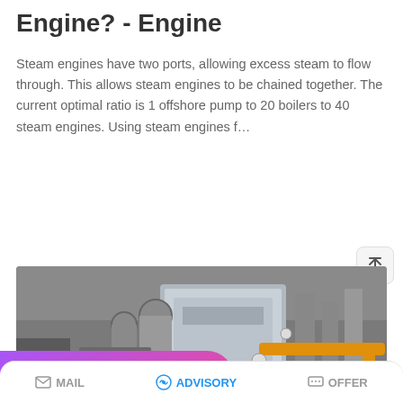Engine? - Engine
Steam engines have two ports, allowing excess steam to flow through. This allows steam engines to be chained together. The current optimal ratio is 1 offshore pump to 20 boilers to 40 steam engines. Using steam engines f…
READ MORE
[Figure (photo): Industrial boiler/steam engine room with large cylindrical pipes, metal equipment, and yellow gas pipes]
Save Stickers on WhatsApp
MAIL   ADVISORY   OFFER